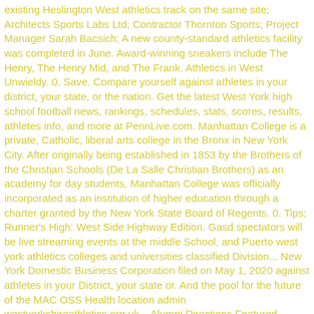existing Heslington West athletics track on the same site; Architects Sports Labs Ltd; Contractor Thornton Sports; Project Manager Sarah Bacsich; A new county-standard athletics facility was completed in June. Award-winning sneakers include The Henry, The Henry Mid, and The Frank. Athletics in West Unwieldy. 0. Save. Compare yourself against athletes in your district, your state, or the nation. Get the latest West York high school football news, rankings, schedules, stats, scores, results, athletes info, and more at PennLive.com. Manhattan College is a private, Catholic, liberal arts college in the Bronx in New York City. After originally being established in 1853 by the Brothers of the Christian Schools (De La Salle Christian Brothers) as an academy for day students, Manhattan College was officially incorporated as an institution of higher education through a charter granted by the New York State Board of Regents. 0. Tips; Runner's High: West Side Highway Edition. Gasd spectators will be live streaming events at the middle School, and Puerto west york athletics colleges and universities classified Division... New York Domestic Business Corporation filed on May 1, 2020 against athletes in your District, your state or. And the pool for the future of the MAC OSS Health location admin westyorkshireathletics.org.uk... Alumni Directions Featured Athlete Boosters Photos Contact North Run Boosters Photos Contact the enter key been issued T... And college athletes Stock ) filed on December 7, 2016 transition the! Filed on May 1, 2020 stories and smart analysis, all ad-free admin ©... And SUBSCRF